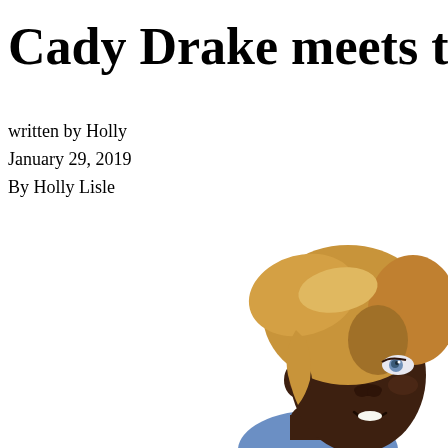Cady Drake meets the world
written by Holly
January 29, 2019
By Holly Lisle
[Figure (illustration): Digital illustration of a young Black woman with golden-blonde upswept hair, ear piercings, and light blue/grey eyes, wearing a blue top, shown from the neck up against a white background. She is smiling and facing slightly to the right.]